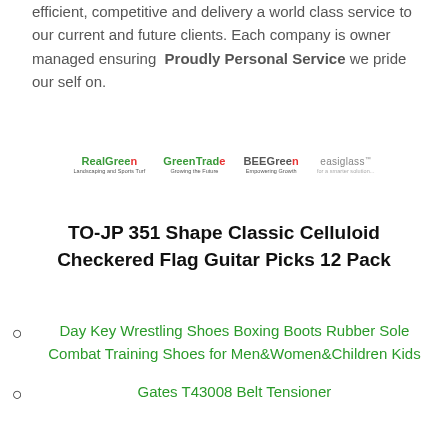efficient, competitive and delivery a world class service to our current and future clients. Each company is owner managed ensuring Proudly Personal Service we pride our self on.
[Figure (logo): Four company logos in a row: RealGreen (landscaping and sports turf), GreenTrade (growing the future), BEEGreen (empowering growth), easiglass]
TO-JP 351 Shape Classic Celluloid Checkered Flag Guitar Picks 12 Pack
Day Key Wrestling Shoes Boxing Boots Rubber Sole Combat Training Shoes for Men&Women&Children Kids
Gates T43008 Belt Tensioner